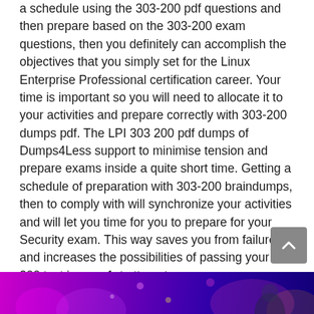a schedule using the 303-200 pdf questions and then prepare based on the 303-200 exam questions, then you definitely can accomplish the objectives that you simply set for the Linux Enterprise Professional certification career. Your time is important so you will need to allocate it to your activities and prepare correctly with 303-200 dumps pdf. The LPI 303 200 pdf dumps of Dumps4Less support to minimise tension and prepare exams inside a quite short time. Getting a schedule of preparation with 303-200 braindumps, then to comply with will synchronize your activities and will let you time for you to prepare for your Security exam. This way saves you from failure and increases the possibilities of passing your 303 200 test in your 1st attempt.
[Figure (photo): Colorful banner image with purple/magenta gradient and a person visible at the bottom of the page]